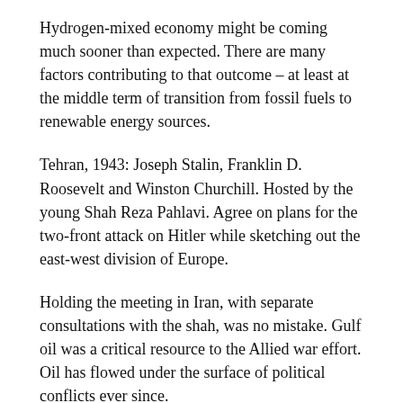Hydrogen-mixed economy might be coming much sooner than expected. There are many factors contributing to that outcome – at least at the middle term of transition from fossil fuels to renewable energy sources.
Tehran, 1943: Joseph Stalin, Franklin D. Roosevelt and Winston Churchill. Hosted by the young Shah Reza Pahlavi. Agree on plans for the two-front attack on Hitler while sketching out the east-west division of Europe.
Holding the meeting in Iran, with separate consultations with the shah, was no mistake. Gulf oil was a critical resource to the Allied war effort. Oil has flowed under the surface of political conflicts ever since.
Fast-forward to today, and political antagonists and